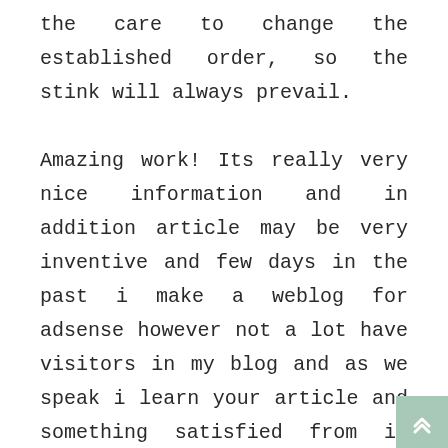the care to change the established order, so the stink will always prevail.

Amazing work! Its really very nice information and in addition article may be very inventive and few days in the past i make a weblog for adsense however not a lot have visitors in my blog and as we speak i learn your article and something satisfied from it however not a lot. There have been a number of explanations for this phenomenon